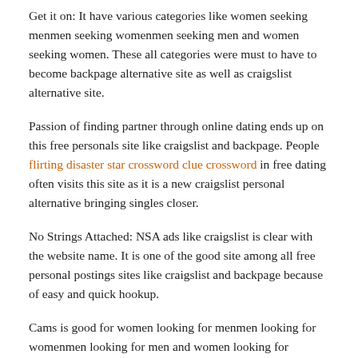Get it on: It have various categories like women seeking menmen seeking womenmen seeking men and women seeking women. These all categories were must to have to become backpage alternative site as well as craigslist alternative site.
Passion of finding partner through online dating ends up on this free personals site like craigslist and backpage. People flirting disaster star crossword clue crossword in free dating often visits this site as it is a new craigslist personal alternative bringing singles closer.
No Strings Attached: NSA ads like craigslist is clear with the website name. It is one of the good site among all free personal postings sites like craigslist and backpage because of easy and quick hookup.
Cams is good for women looking for menmen looking for womenmen looking for men and women looking for women. This free online personal ads classifieds is spread worldwide. The most popular...